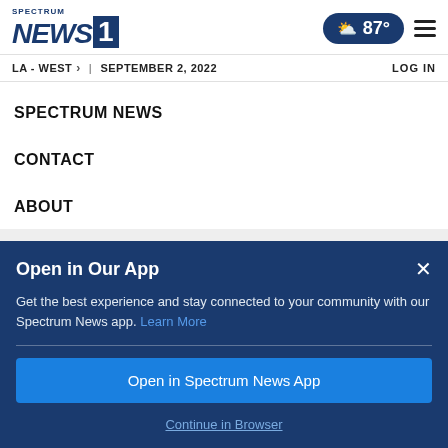Spectrum News 1 — LA - WEST | SEPTEMBER 2, 2022 | 87° | LOG IN
SPECTRUM NEWS
CONTACT
ABOUT
RSS
Open in Our App
Get the best experience and stay connected to your community with our Spectrum News app. Learn More
Open in Spectrum News App
Continue in Browser